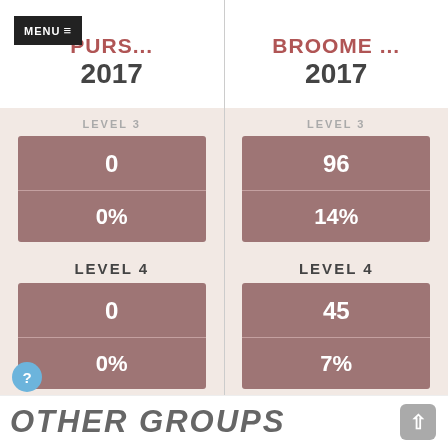MENU ≡   PURS...   BROOME ...
2017
2017
LEVEL 3
0
0%
LEVEL 3
96
14%
LEVEL 4
0
0%
LEVEL 4
45
7%
OTHER GROUPS